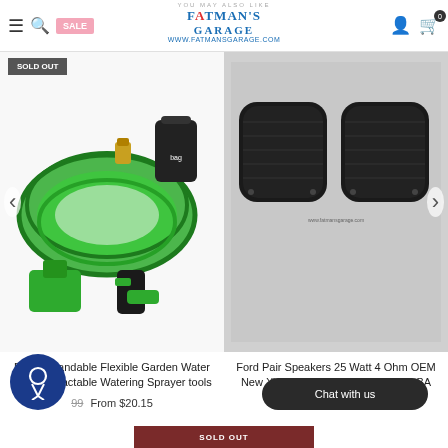YOU MAY ALSO LIKE — Fatman's Garage — WWW.FATMANSGARAGE.COM
[Figure (photo): Green expandable garden hose coiled up with brass fittings, a black carrying bag, a green hose hanger bracket, and a green/black multi-function spray nozzle on white background. SOLD OUT badge in top-left corner.]
[Figure (photo): Two black oval car speakers (Ford OEM) side by side on a light gray/silver background. Text at bottom right reads www.fatmansgarage.com]
Feet Expandable Flexible Garden Water Hose Retractable Watering Sprayer tools
From $20.15
Ford Pair Speakers 25 Watt 4 Ohm OEM New XW7F-18808-AB 7U5T-18808-BA Set of 2
Chat with us